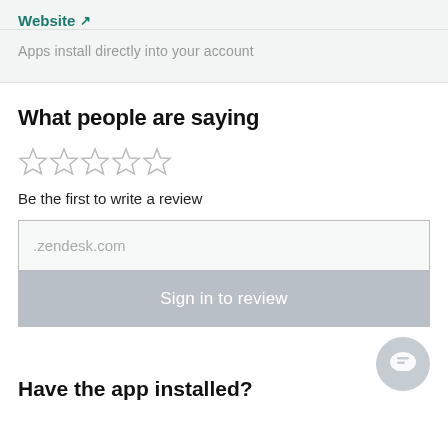Website ↗
Apps install directly into your account
What people are saying
[Figure (other): Five empty star rating icons in a row]
Be the first to write a review
.zendesk.com
Sign in to review
[Figure (other): Round grey chat bubble icon in bottom right corner]
Have the app installed?